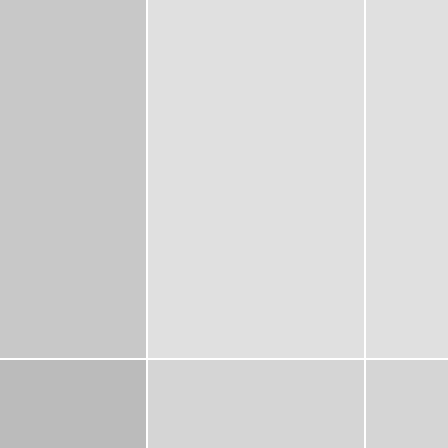|  | Product Code | Current | Description |
| --- | --- | --- | --- |
|  |  |  | output) 120-240V PS... |
|  | VECIP43-24/25A-3 | 25A | Phoenix Smart IP43 120-240V PSC24255... |
|  | VECIP65-24/13 | 13A | Blue Smart IP65 SLA clips & M8 eyelets BI... |
|  | VECIP65-24/5 | 5A | Blue Smart IP65 SLA & M8 eyelets BPC24... |
|  | VECIP65-24/8 | 8A | Blue Smart IP65 SLA & M8 eyelets BPC24... |
|  | VECIP67-24/12A | 12A | Blue Smart IP67 SLA BPC241247016 |
|  | VECIP67-24/5 | 5A | Blue Smart IP67 SLA BPC240547016 |
|  | VECIP67-24/8 | 8A | Blue Smart IP67 SLA BPC240847016 |
|  | VECP-24/16 | 16A | 24V 16A Phoenix SL... PCH024016001 |
|  | VECP-24/25 | 25A | 24V 25A Phoenix SL... PCH024025001 |